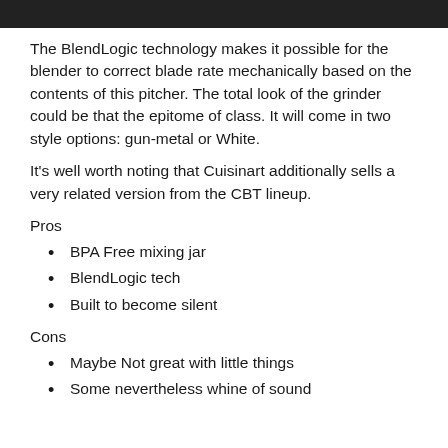[Figure (photo): Dark/black banner image at the top of the page]
The BlendLogic technology makes it possible for the blender to correct blade rate mechanically based on the contents of this pitcher. The total look of the grinder could be that the epitome of class. It will come in two style options: gun-metal or White.
It's well worth noting that Cuisinart additionally sells a very related version from the CBT lineup.
Pros
BPA Free mixing jar
BlendLogic tech
Built to become silent
Cons
Maybe Not great with little things
Some nevertheless whine of sound